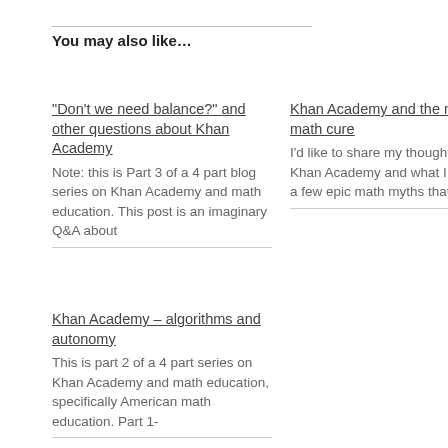You may also like…
“Don’t we need balance?” and other questions about Khan Academy
Note: this is Part 3 of a 4 part blog series on Khan Academy and math education. This post is an imaginary Q&A about
Khan Academy and the mythical math cure
I’d like to share my thoughts about Khan Academy and what I see as a few epic math myths that are
Khan Academy – algorithms and autonomy
This is part 2 of a 4 part series on Khan Academy and math education, specifically American math education. Part 1-